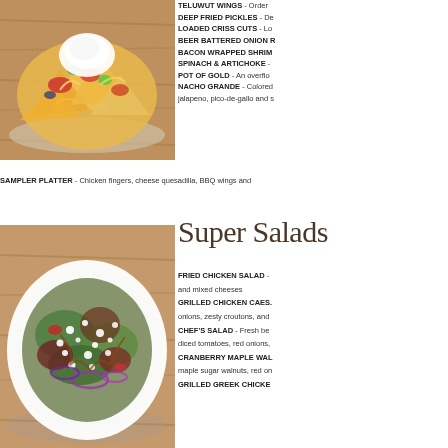[Figure (photo): Photo of a loaded nachos plate with toppings including cheese, vegetables, and cream on a wooden surface]
TELUWUT WINGS - Order
DEEP FRIED PICKLES - De
LOADED CRISS CUTS - Lo
BEER BATTERED ONION R
BACON WRAPPED SHRIM
SPINACH & ARTICHOKE -
POT OF GOLD - An overflow
NACHO GRANDE - Colored jalapeno, pico-de-gallo and s
SAMPLER PLATTER - Chicken fingers, cheese quesadilla, BBQ wings and
Super Salads
[Figure (photo): Photo of a salad bowl with mixed greens, crumbled cheese, red onions, and dressing on a plate]
FRIED CHICKEN SALAD - and mixed cheeses
GRILLED CHICKEN CAES. onions, zesty croutons, and
CHEF'S SALAD - Fresh be diced tomatoes, red onions,
CRANBERRY MAPLE WAL maple sugar walnuts, red on
GRILLED GREEK CHICKE